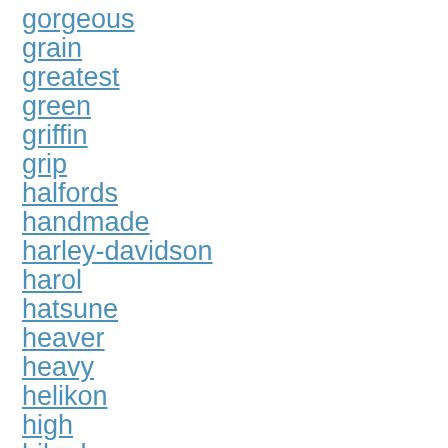gorgeous
grain
greatest
green
griffin
grip
halfords
handmade
harley-davidson
harol
hatsune
heaver
heavy
helikon
high
hiked
hilka